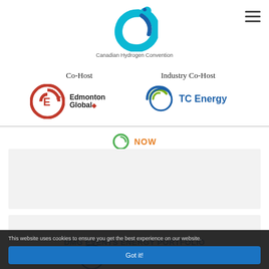[Figure (logo): Canadian Hydrogen Convention logo - stylized C shape in cyan/blue with dot, with text 'Canadian Hydrogen Convention' below]
Co-Host
Industry Co-Host
[Figure (logo): Edmonton Global logo - red circular arrow with E, text Edmonton Global with maple leaf dot]
[Figure (logo): TC Energy logo - green circular waves symbol with blue TC Energy text]
NOW
DMG EVENTS ENERGY PORTFOLIO
[Figure (logo): ISA Calgary Show logo - partial view showing ISA circular logo and Calgary Show text]
This website uses cookies to ensure you get the best experience on our website.
Got it!